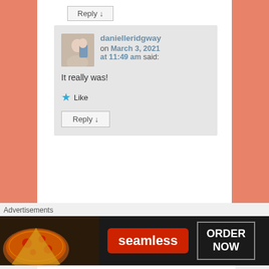Reply ↓
danielleridgway on March 3, 2021 at 11:49 am said:
It really was!
★ Like
Reply ↓
Advertisements
[Figure (logo): Pressable logo with icon and text]
. . . . . . . . .
Advertisements
[Figure (screenshot): Seamless food delivery advertisement banner with pizza image, seamless logo, and ORDER NOW button]